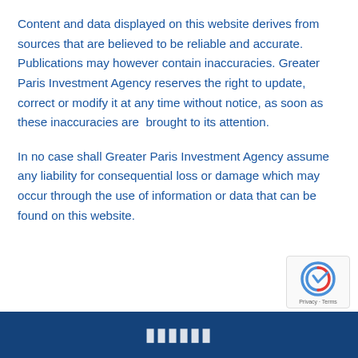Content and data displayed on this website derives from sources that are believed to be reliable and accurate. Publications may however contain inaccuracies. Greater Paris Investment Agency reserves the right to update, correct or modify it at any time without notice, as soon as these inaccuracies are  brought to its attention.
In no case shall Greater Paris Investment Agency assume any liability for consequential loss or damage which may occur through the use of information or data that can be found on this website.
[Figure (logo): reCAPTCHA logo icon with Privacy - Terms text]
Greater Paris Investment Agency footer bar with logo